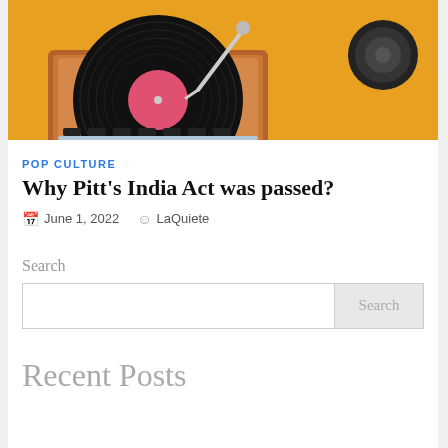[Figure (photo): Overhead view of a vinyl record turntable with a pink/red record label on a yellow background, with a wooden turntable base]
POP CULTURE
Why Pitt’s India Act was passed?
June 1, 2022   LaQuiete
Search
Recent Posts